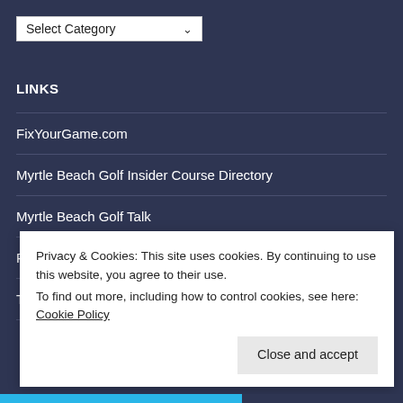Select Category
LINKS
FixYourGame.com
Myrtle Beach Golf Insider Course Directory
Myrtle Beach Golf Talk
PGA Tour Leaderboard
The Golf Channel
Privacy & Cookies: This site uses cookies. By continuing to use this website, you agree to their use.
To find out more, including how to control cookies, see here: Cookie Policy
Close and accept